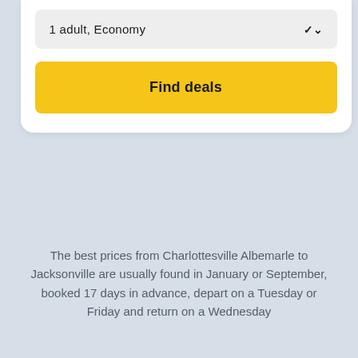1 adult, Economy
Find deals
The best prices from Charlottesville Albemarle to Jacksonville are usually found in January or September, booked 17 days in advance, depart on a Tuesday or Friday and return on a Wednesday